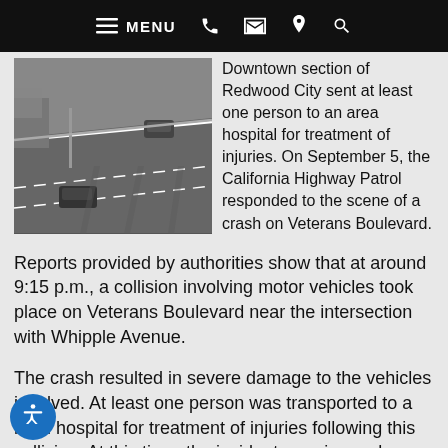≡ MENU  📞  ✉  📍  🔍
[Figure (photo): Overhead highway camera view showing multiple lanes with cars driving on a road]
Downtown section of Redwood City sent at least one person to an area hospital for treatment of injuries. On September 5, the California Highway Patrol responded to the scene of a crash on Veterans Boulevard.
Reports provided by authorities show that at around 9:15 p.m., a collision involving motor vehicles took place on Veterans Boulevard near the intersection with Whipple Avenue.
The crash resulted in severe damage to the vehicles involved. At least one person was transported to a local hospital for treatment of injuries following this collision. At this time, the incident remains under investigation.